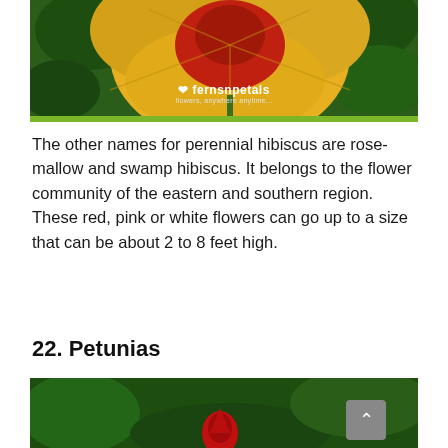[Figure (photo): Photo of a yellow and red hibiscus flower with green leaves and a ferns n petals logo overlay with tagline 'flowers, anywhere anytime...']
The other names for perennial hibiscus are rose-mallow and swamp hibiscus. It belongs to the flower community of the eastern and southern region. These red, pink or white flowers can go up to a size that can be about 2 to 8 feet high.
22. Petunias
[Figure (photo): Photo of a red petunia flower bud against a dark green blurred background]